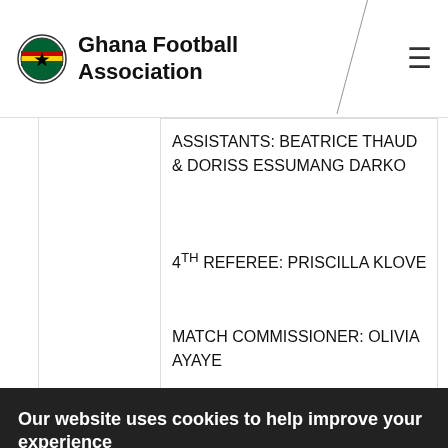Ghana Football Association
ASSISTANTS: BEATRICE THAUD & DORISS ESSUMANG DARKO
4TH REFEREE: PRISCILLA KLOVE
MATCH COMMISSIONER: OLIVIA AYAYE
Our website uses cookies to help improve your experience
A functional cookie (which expires when you close your browser) has already been placed on your machine. More details
ACCEPT COOKIES